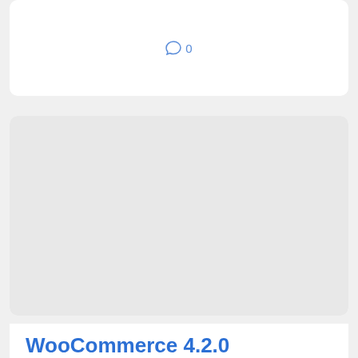[Figure (other): Comment count icon with speech bubble and number 0]
[Figure (other): Blog post image placeholder (gray rectangle)]
WooCommerce 4.2.0 Changelog
JUNE 3RD, 2020 | TAGS: WOOCOMMERCE 4
WooCommerce 4.2.0 is now available! This is a fix